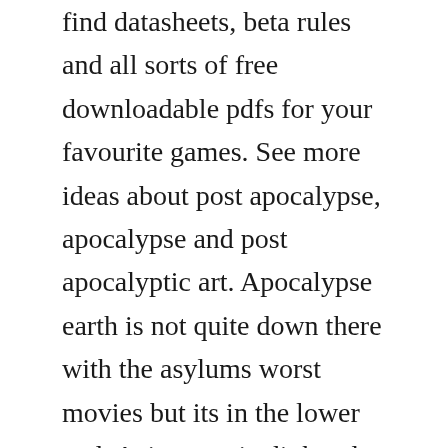find datasheets, beta rules and all sorts of free downloadable pdfs for your favourite games. See more ideas about post apocalypse, apocalypse and post apocalyptic art. Apocalypse earth is not quite down there with the asylums worst movies but its in the lower end. Azione regia di thunder levin con adrian paul, richard grieco, bali rodriguez, gray hawks, jayson mccardell. They came to earthpestilence, war, famine, deathfour horsemen riding their. I managed to get some programs on the computer, like firefox, avg.